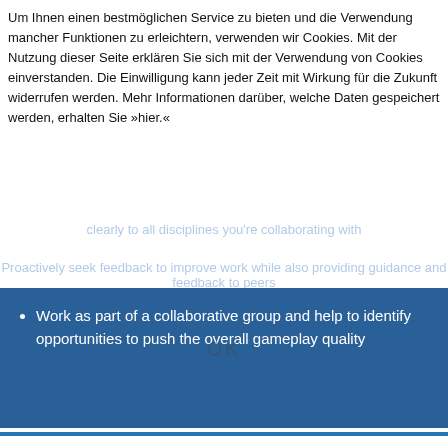Um Ihnen einen bestmöglichen Service zu bieten und die Verwendung mancher Funktionen zu erleichtern, verwenden wir Cookies. Mit der Nutzung dieser Seite erklären Sie sich mit der Verwendung von Cookies einverstanden. Die Einwilligung kann jeder Zeit mit Wirkung für die Zukunft widerrufen werden. Mehr Informationen darüber, welche Daten gespeichert werden, erhalten Sie »hier.«
clearly to all disciplines you're collaborating with
Proactively seek feedback to improve work while also providing guidance and feedback to peers
OK
Work as part of a collaborative group and help to identify opportunities to push the overall gameplay quality
Your Skillset
Excellent understanding of combat design fundamentals: Moment-to-moment gameplay, combat rules, pacing, player controls,